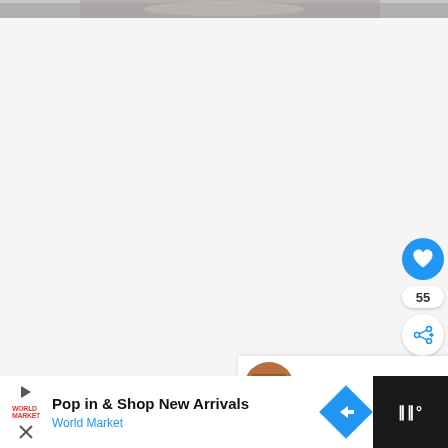[Figure (photo): Partial food image visible at top of page, cropped]
[Figure (infographic): Like/favorite button (blue circle with heart icon), like count showing 55, and share button (white circle with share icon) on right side of page]
[Figure (infographic): What's Next banner showing a circular thumbnail of Meat Loaf Pie with label WHAT'S NEXT and title text]
55
WHAT'S NEXT →
Meat Loaf Pie
[Figure (infographic): Advertisement banner for World Market: Pop in & Shop New Arrivals with blue diamond arrow logo and World Market branding]
Pop in & Shop New Arrivals
World Market